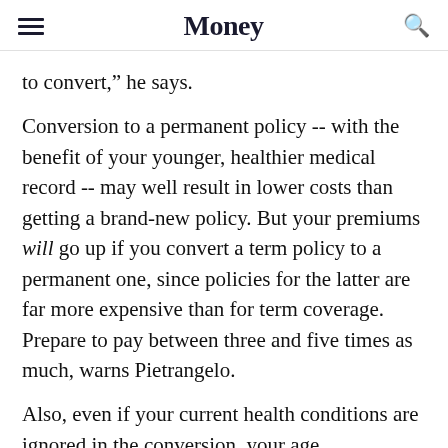Money
to convert,” he says.
Conversion to a permanent policy -- with the benefit of your younger, healthier medical record -- may well result in lower costs than getting a brand-new policy. But your premiums will go up if you convert a term policy to a permanent one, since policies for the latter are far more expensive than for term coverage. Prepare to pay between three and five times as much, warns Pietrangelo.
Also, even if your current health conditions are ignored in the conversion, your age